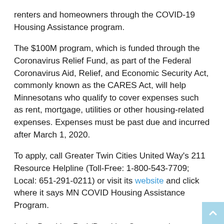renters and homeowners through the COVID-19 Housing Assistance program.
The $100M program, which is funded through the Coronavirus Relief Fund, as part of the Federal Coronavirus Aid, Relief, and Economic Security Act, commonly known as the CARES Act, will help Minnesotans who qualify to cover expenses such as rent, mortgage, utilities or other housing-related expenses. Expenses must be past due and incurred after March 1, 2020.
To apply, call Greater Twin Cities United Way's 211 Resource Helpline (Toll-Free: 1-800-543-7709; Local: 651-291-0211) or visit its website and click where it says MN COVID Housing Assistance Program.
In the Brooklyn Park/Brooklyn Center and surrounding suburbs, contact ACER, the African Career Education Resource for